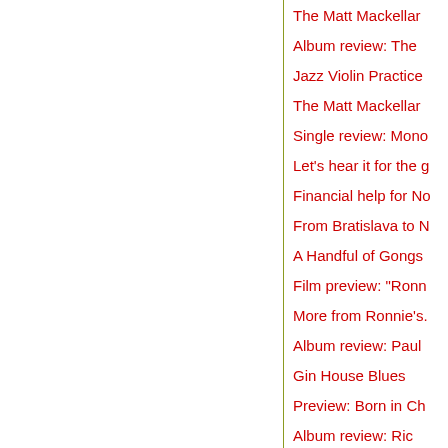The Matt Mackellar
Album review: The
Jazz Violin Practice
The Matt Mackellar
Single review: Mono
Let's hear it for the g
Financial help for No
From Bratislava to N
A Handful of Gongs
Film preview: "Ronn
More from Ronnie's.
Album review: Paul
Gin House Blues
Preview: Born in Ch
Album review: Ric